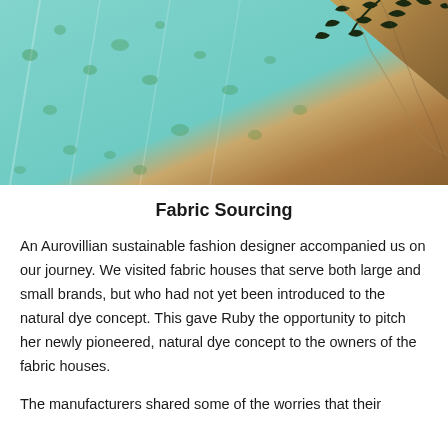[Figure (photo): Close-up photo of light blue/turquoise fabric with green spots laid out, with a sandy/stone edge visible on the right side, and dark leaf/plant silhouettes in the upper right corner.]
Fabric Sourcing
An Aurovillian sustainable fashion designer accompanied us on our journey. We visited fabric houses that serve both large and small brands, but who had not yet been introduced to the natural dye concept. This gave Ruby the opportunity to pitch her newly pioneered, natural dye concept to the owners of the fabric houses.
The manufacturers shared some of the worries that their